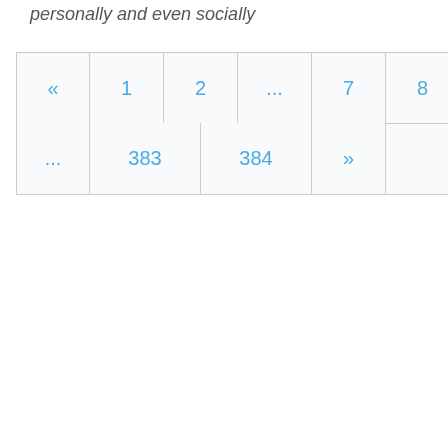personally and even socially
[Figure (other): Pagination navigation widget showing two rows of page number buttons. Row 1: «, 1, 2, ..., 7, 8, 9, 10 (active/highlighted in blue), 11, 12, 13. Row 2: ..., 383, 384, »]